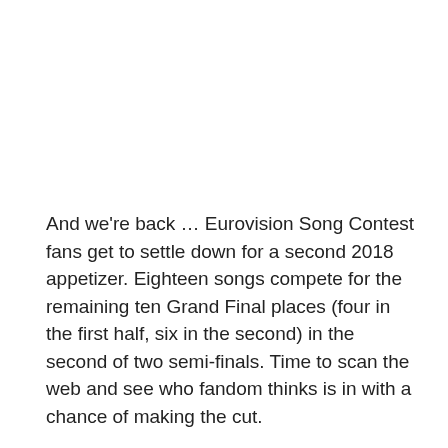And we're back … Eurovision Song Contest fans get to settle down for a second 2018 appetizer. Eighteen songs compete for the remaining ten Grand Final places (four in the first half, six in the second) in the second of two semi-finals. Time to scan the web and see who fandom thinks is in with a chance of making the cut.
We'll also consider the odds offered by bookmakers, though caution that at this point, very little money has been placed. A clearer position should emerge tomorrow morning as 'the wider world' makes up its mind.